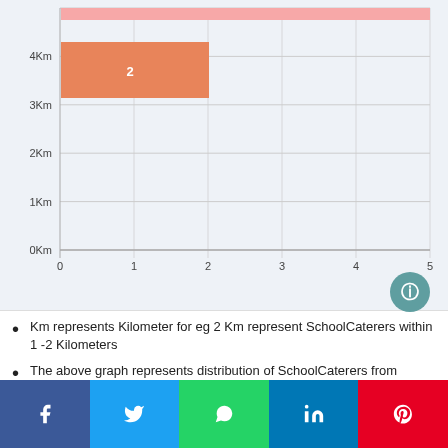[Figure (bar-chart): Distribution of SchoolCaterers by distance]
Km represents Kilometer for eg 2 Km represent SchoolCaterers within 1 -2 Kilometers
The above graph represents distribution of SchoolCaterers from Postcode OX18 4EW by distance